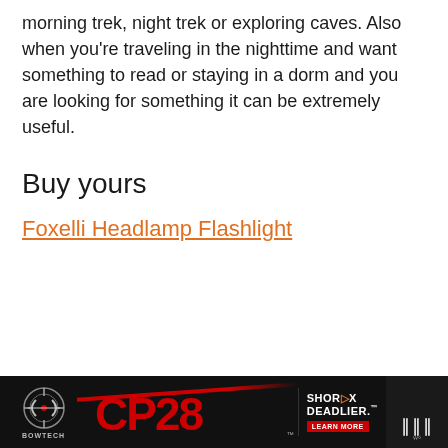morning trek, night trek or exploring caves. Also when you're traveling in the nighttime and want something to read or staying in a dorm and you are looking for something it can be extremely useful.
Buy yours
Foxelli Headlamp Flashlight
[Figure (other): Advertisement banner for Bowtech CP28 bow — 'SHORTER. DEADLIER.' with learn more button and app icon area]